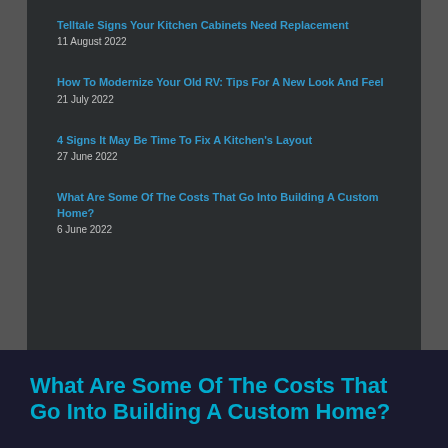11 August 2022
Telltale Signs Your Kitchen Cabinets Need Replacement
11 August 2022
How To Modernize Your Old RV: Tips For A New Look And Feel
21 July 2022
4 Signs It May Be Time To Fix A Kitchen's Layout
27 June 2022
What Are Some Of The Costs That Go Into Building A Custom Home?
6 June 2022
What Are Some Of The Costs That Go Into Building A Custom Home?